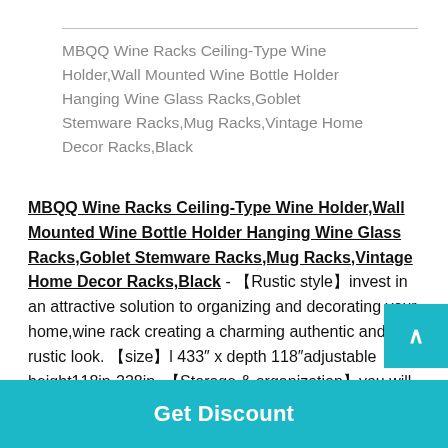MBQQ Wine Racks Ceiling-Type Wine Holder,Wall Mounted Wine Bottle Holder Hanging Wine Glass Racks,Goblet Stemware Racks,Mug Racks,Vintage Home Decor Racks,Black
MBQQ Wine Racks Ceiling-Type Wine Holder,Wall Mounted Wine Bottle Holder Hanging Wine Glass Racks,Goblet Stemware Racks,Mug Racks,Vintage Home Decor Racks,Black - 【Rustic style】invest in an attractive solution to organizing and decorating your home,wine rack creating a charming authentic and rustic look. 【size】l 433″ x depth 118″adjustable height118in-228in. 【Storage & organization】you will have enough room to store all your stemware will accent your exi...